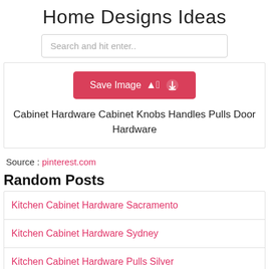Home Designs Ideas
Search and hit enter..
[Figure (other): Save Image button with upload cloud icon, red/pink background]
Cabinet Hardware Cabinet Knobs Handles Pulls Door Hardware
Source : pinterest.com
Random Posts
Kitchen Cabinet Hardware Sacramento
Kitchen Cabinet Hardware Sydney
Kitchen Cabinet Hardware Pulls Silver